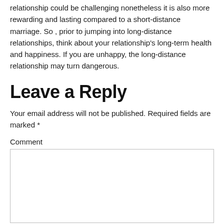relationship could be challenging nonetheless it is also more rewarding and lasting compared to a short-distance marriage. So , prior to jumping into long-distance relationships, think about your relationship's long-term health and happiness. If you are unhappy, the long-distance relationship may turn dangerous.
Leave a Reply
Your email address will not be published. Required fields are marked *
Comment